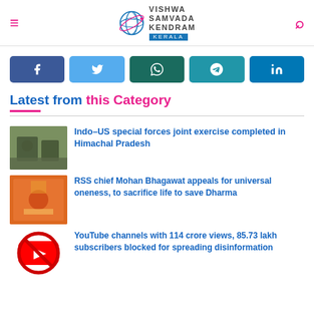Vishwa Samvada Kendram Kerala
[Figure (infographic): Social share buttons: Facebook, Twitter, WhatsApp, Telegram, LinkedIn]
Latest from this Category
Indo–US special forces joint exercise completed in Himachal Pradesh
RSS chief Mohan Bhagawat appeals for universal oneness, to sacrifice life to save Dharma
YouTube channels with 114 crore views, 85.73 lakh subscribers blocked for spreading disinformation